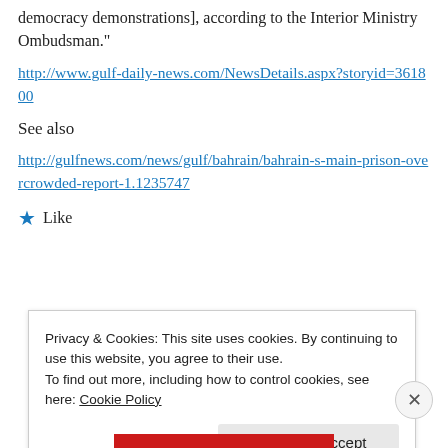democracy demonstrations], according to the Interior Ministry Ombudsman."
http://www.gulf-daily-news.com/NewsDetails.aspx?storyid=361800
See also
http://gulfnews.com/news/gulf/bahrain/bahrain-s-main-prison-overcrowded-report-1.1235747
★ Like
Privacy & Cookies: This site uses cookies. By continuing to use this website, you agree to their use.
To find out more, including how to control cookies, see here: Cookie Policy
Close and accept